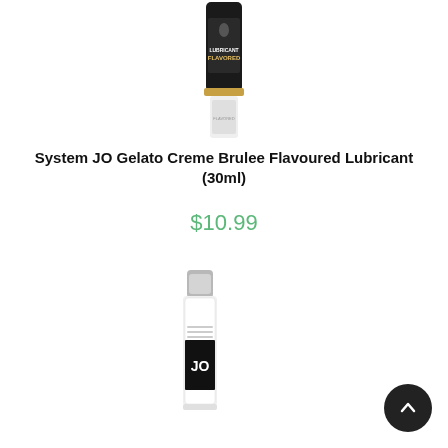[Figure (photo): Product photo of System JO Gelato Creme Brulee Flavoured Lubricant bottle (30ml) - dark/black bottle with gold cap and a clear packet below]
System JO Gelato Creme Brulee Flavoured Lubricant (30ml)
$10.99
[Figure (photo): Product photo of a white/silver System JO lubricant bottle with black label showing 'JO' branding]